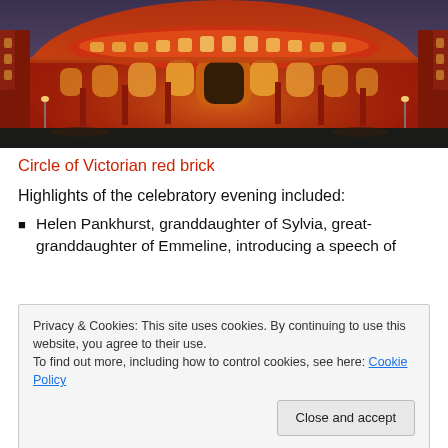[Figure (photo): Photograph of the Royal Albert Hall at night, illuminated in orange and red light, showing the circular Victorian red brick building with arched windows and ornate facade.]
Circle of Victorian red brick
Highlights of the celebratory evening included:
Helen Pankhurst, granddaughter of Sylvia, great-granddaughter of Emmeline, introducing a speech of
Privacy & Cookies: This site uses cookies. By continuing to use this website, you agree to their use.
To find out more, including how to control cookies, see here: Cookie Policy
we will put the enemy in the position where they will have